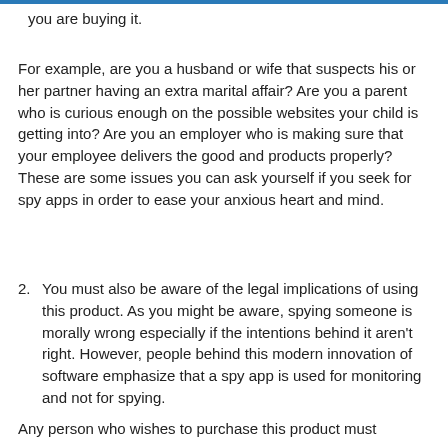you are buying it.
For example, are you a husband or wife that suspects his or her partner having an extra marital affair? Are you a parent who is curious enough on the possible websites your child is getting into? Are you an employer who is making sure that your employee delivers the good and products properly? These are some issues you can ask yourself if you seek for spy apps in order to ease your anxious heart and mind.
2. You must also be aware of the legal implications of using this product. As you might be aware, spying someone is morally wrong especially if the intentions behind it aren't right. However, people behind this modern innovation of software emphasize that a spy app is used for monitoring and not for spying.
Any person who wishes to purchase this product must